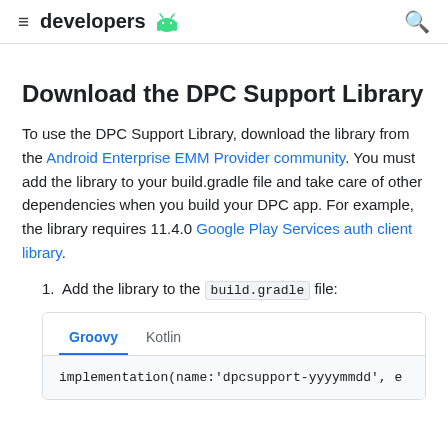developers
Download the DPC Support Library
To use the DPC Support Library, download the library from the Android Enterprise EMM Provider community. You must add the library to your build.gradle file and take care of other dependencies when you build your DPC app. For example, the library requires 11.4.0 Google Play Services auth client library.
Add the library to the build.gradle file:
[Figure (screenshot): Code block with Groovy and Kotlin tabs, showing implementation(name:'dpcsupport-yyyymmdd', e... in the Groovy tab]